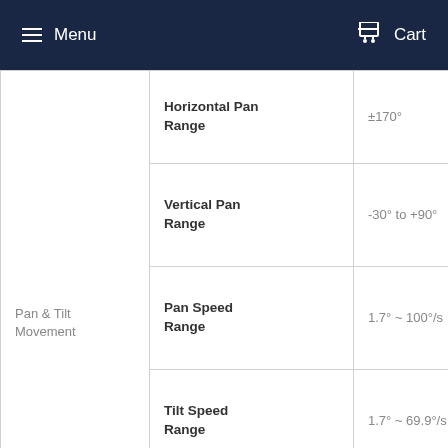Menu   Cart
| Category | Specification | Value |
| --- | --- | --- |
| Pan & Tilt Movement | Horizontal Pan Range | ±170° |
|  | Vertical Pan Range | -30° to +90° |
|  | Pan Speed Range | 1.7° ~ 100°/s |
|  | Tilt Speed Range | 1.7° ~ 69.9°/s |
|  | Preset Accuracy | 0.1° |
|  | Power Supply | 12W (Max) |